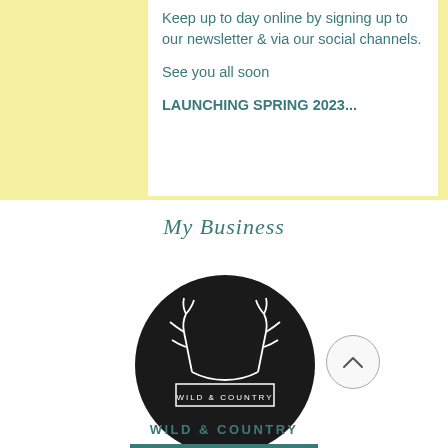Keep up to day online by signing up to our newsletter & via our social channels.

See you all soon

LAUNCHING SPRING 2023...
My Business
[Figure (logo): Wild & Country logo: black circle with white antlers illustration above a rectangular border containing the text WILD & COUNTRY]
WILD & COUNTRY